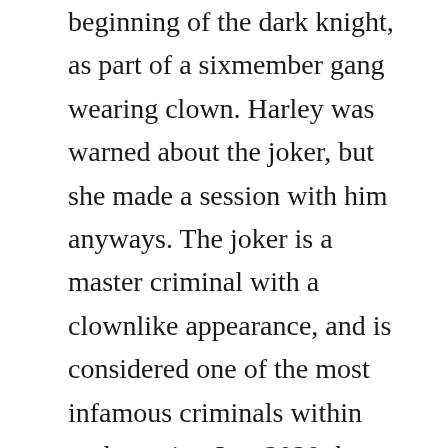beginning of the dark knight, as part of a sixmember gang wearing clown. Harley was warned about the joker, but she made a session with him anyways. The joker is a master criminal with a clownlike appearance, and is considered one of the most infamous criminals within gotham city. Jan, 2020 that debate unfolded even as joker stirred memories of the 2012 aurora, colo. Jack nicholson plays the joker in the movie batman, directed by tim burton murray closesygma via getty images one year after the killing joke was published, jack nicholson